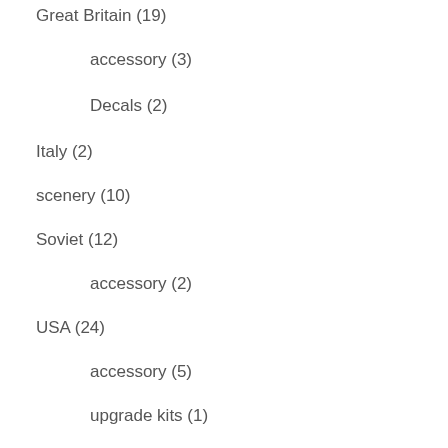Great Britain (19)
accessory (3)
Decals (2)
Italy (2)
scenery (10)
Soviet (12)
accessory (2)
USA (24)
accessory (5)
upgrade kits (1)
USA/Commonwealth (8)
Decals (2)
Vietnam War (2)
Rules and scenario books (2)